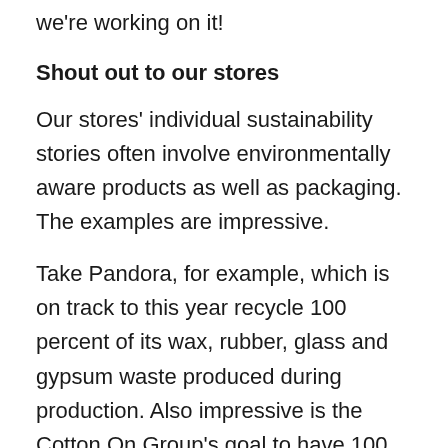we're working on it!
Shout out to our stores
Our stores' individual sustainability stories often involve environmentally aware products as well as packaging. The examples are impressive.
Take Pandora, for example, which is on track to this year recycle 100 percent of its wax, rubber, glass and gypsum waste produced during production. Also impressive is the Cotton On Group's goal to have 100 percent sustainable cotton through its supply chain by 2021. Then there's Kathmandu, which, in the past year, recycled more than 6.7 million plastic bottles to create outdoor gear. Wow! Pop into Just Jeans and check out the Lyocell shirts (made from wood cellulose or pulp with very little waste product). Meanwhile, at Lush, 90